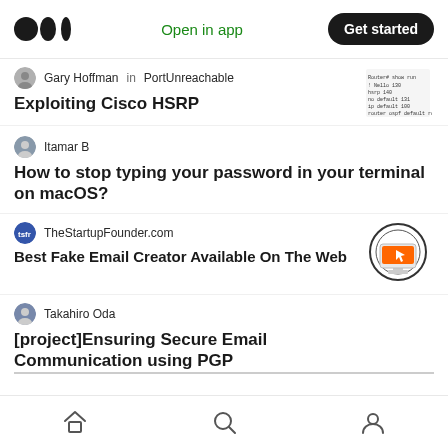Medium logo | Open in app | Get started
Gary Hoffman in PortUnreachable
Exploiting Cisco HSRP
Itamar B
How to stop typing your password in your terminal on macOS?
TheStartupFounder.com
Best Fake Email Creator Available On The Web
[Figure (illustration): Circular logo with orange monitor/screen icon]
Takahiro Oda
[project]Ensuring Secure Email Communication using PGP
Bottom navigation: Home, Search, Profile